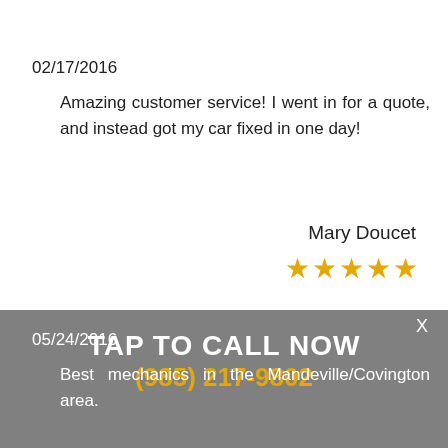02/17/2016
Amazing customer service! I went in for a quote, and instead got my car fixed in one day!
Mary Doucet
★★★★★
X
TAP TO CALL NOW
(985) 217-9802
05/24/2016
Best mechanics in the Mandeville/Covington area.